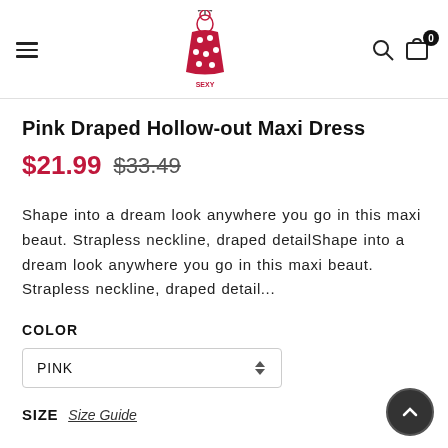Sexy Affordable – navigation header with hamburger menu, logo, search and cart icons
Pink Draped Hollow-out Maxi Dress
$21.99  $33.49
Shape into a dream look anywhere you go in this maxi beaut. Strapless neckline, draped detailShape into a dream look anywhere you go in this maxi beaut. Strapless neckline, draped detail...
COLOR
PINK
SIZE  Size Guide